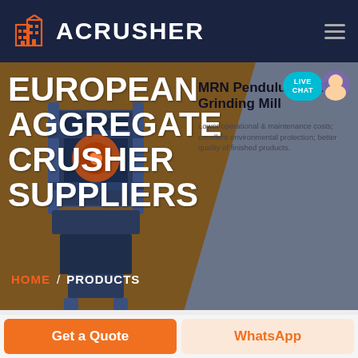ACRUSHER
EUROPEAN AGGREGATE CRUSHER SUPPLIERS
[Figure (screenshot): MRN Pendulum Roller Grinding Mill product image with industrial grinding machine]
MRN Pendulum Roller Grinding Mill
Lower operational & maintenance costs; excellent environmental protection; better quality of finished products.
HOME / PRODUCTS
Get a Quote
WhatsApp